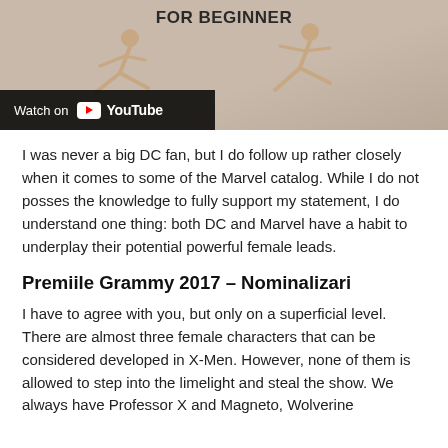[Figure (screenshot): YouTube video thumbnail showing two people in yoga/exercise poses with text 'FOR BEGINNER' at the top, and a 'Watch on YouTube' bar at the bottom left.]
I was never a big DC fan, but I do follow up rather closely when it comes to some of the Marvel catalog. While I do not posses the knowledge to fully support my statement, I do understand one thing: both DC and Marvel have a habit to underplay their potential powerful female leads.
Premiile Grammy 2017 – Nominalizari
I have to agree with you, but only on a superficial level. There are almost three female characters that can be considered developed in X-Men. However, none of them is allowed to step into the limelight and steal the show. We always have Professor X and Magneto, Wolverine